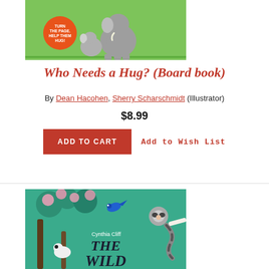[Figure (illustration): Book cover for 'Who Needs a Hug?' showing cartoon elephants on a green background with an orange circle badge reading 'TURN THE PAGE. HELP THEM HUG!']
Who Needs a Hug? (Board book)
By Dean Hacohen, Sherry Scharschmidt (Illustrator)
$8.99
ADD TO CART   Add to Wish List
[Figure (illustration): Book cover for 'The Wild...' by Cynthia Cliff, showing jungle animals including a raccoon, blue bird, and possum among teal foliage and trees]